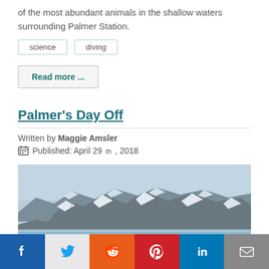of the most abundant animals in the shallow waters surrounding Palmer Station.
science
diving
Read more ...
Palmer's Day Off
Written by Maggie Amsler
Published: April 29th, 2018
[Figure (photo): Snow-capped rocky glacier/mountains with icy water in the foreground, taken near Palmer Station Antarctica.]